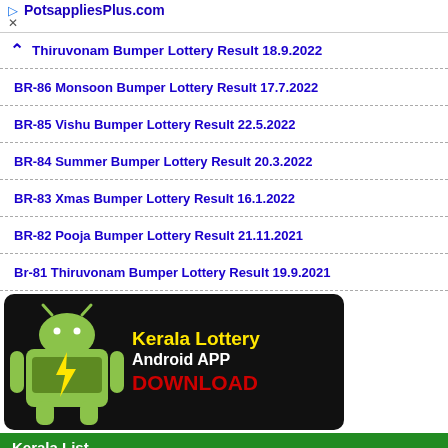PotsappliesPlus.com
Thiruvonam Bumper Lottery Result 18.9.2022
BR-86 Monsoon Bumper Lottery Result 17.7.2022
BR-85 Vishu Bumper Lottery Result 22.5.2022
BR-84 Summer Bumper Lottery Result 20.3.2022
BR-83 Xmas Bumper Lottery Result 16.1.2022
BR-82 Pooja Bumper Lottery Result 21.11.2021
Br-81 Thiruvonam Bumper Lottery Result 19.9.2021
[Figure (illustration): Kerala Lottery Android APP DOWNLOAD banner on black background with Android robot logo]
Kerala List
Kerala Pin-Codes
Kerala District Wise STD-Codes
Kerala Festivals